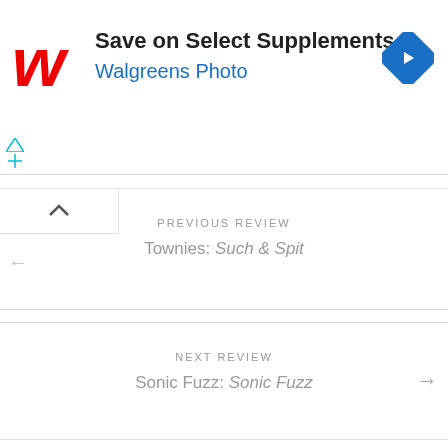[Figure (advertisement): Walgreens ad banner: red cursive W logo, text 'Save on Select Supplements' and 'Walgreens Photo' in blue, blue diamond navigation arrow icon on right]
PREVIOUS REVIEW
Townies: Such & Spit
NEXT REVIEW
Sonic Fuzz: Sonic Fuzz
Sponsored
[Figure (photo): Sponsored image: light blue gradient sky background with a small figure at bottom center playing a musical instrument (appears to be a trumpet/horn)]